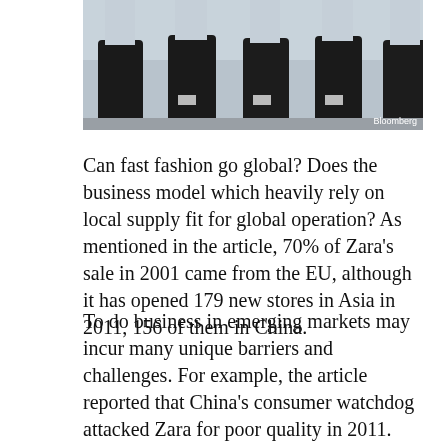[Figure (photo): Photo of mannequin legs wearing black knee-high boots, Bloomberg credit]
Can fast fashion go global? Does the business model which heavily rely on local supply fit for global operation? As mentioned in the article, 70% of Zara's sale in 2001 came from the EU, although it has opened 179 new stores in Asia in 2011, 156 of them in China.
To do business in emerging markets may incur many unique barriers and challenges. For example, the article reported that China's consumer watchdog attacked Zara for poor quality in 2011. Often time we see much heavier involvement of government